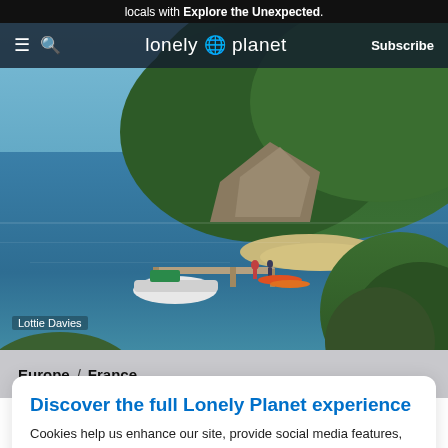locals with Explore the Unexpected.
[Figure (screenshot): Lonely Planet website navigation bar with hamburger menu icon, search icon, Lonely Planet globe logo, and Subscribe button on dark background]
[Figure (photo): Aerial coastal photograph showing a tree-covered rocky headland, turquoise cove, sandy beach, and a wooden dock with people and a boat. Photo credit: Lottie Davies]
Lottie Davies
Europe / France
Discover the full Lonely Planet experience
Cookies help us enhance our site, provide social media features, allow us to analyze our traffic, and deliver personalized travel content guaranteed to inspire you to grab your passport. Find out more